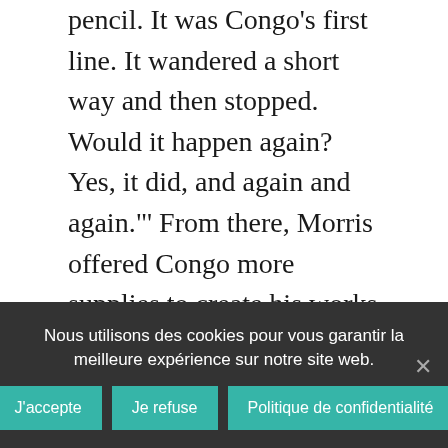pencil. It was Congo's first line. It wandered a short way and then stopped. Would it happen again? Yes, it did, and again and again."' From there, Morris offered Congo more supplies to create his works and, eventually, they ventured into painting. Congo often preferred a fan pattern, which according to Morris reflected the way that apes fan out leaves for a nest, but, as is the case with Split Fan Pattern with Central Black Spot, Congo occasionally veered from his usual pattern. As Congo continued, Morris watched the chimp make specific choices in his composition. In fact, the reason that Split Fan Pattern with Central Black Spot was so monumental was that it was the first time Congo choose to depict something different from his familiar fan patterns. Thus, it was his first artistic choice
Nous utilisons des cookies pour vous garantir la meilleure expérience sur notre site web.